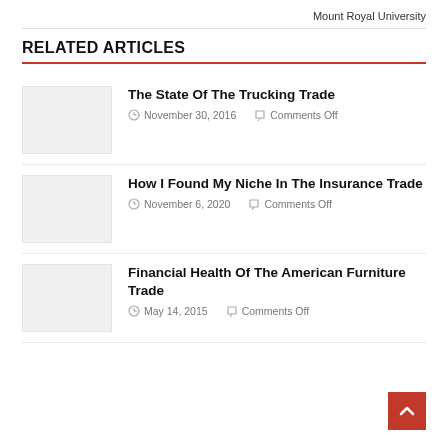Mount Royal University
RELATED ARTICLES
The State Of The Trucking Trade
November 30, 2016   Comments Off
How I Found My Niche In The Insurance Trade
November 6, 2020   Comments Off
Financial Health Of The American Furniture Trade
May 14, 2015   Comments Off